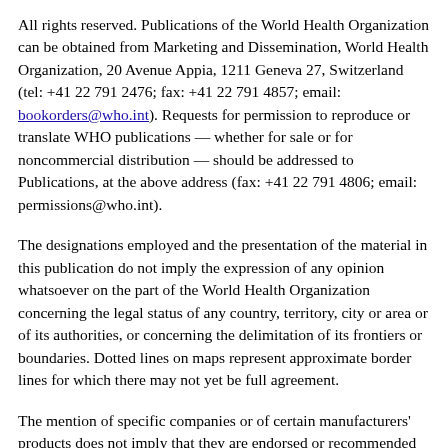All rights reserved. Publications of the World Health Organization can be obtained from Marketing and Dissemination, World Health Organization, 20 Avenue Appia, 1211 Geneva 27, Switzerland (tel: +41 22 791 2476; fax: +41 22 791 4857; email: bookorders@who.int). Requests for permission to reproduce or translate WHO publications — whether for sale or for noncommercial distribution — should be addressed to Publications, at the above address (fax: +41 22 791 4806; email: permissions@who.int).
The designations employed and the presentation of the material in this publication do not imply the expression of any opinion whatsoever on the part of the World Health Organization concerning the legal status of any country, territory, city or area or of its authorities, or concerning the delimitation of its frontiers or boundaries. Dotted lines on maps represent approximate border lines for which there may not yet be full agreement.
The mention of specific companies or of certain manufacturers' products does not imply that they are endorsed or recommended by the World Health Organization in preference to others of a similar nature that are not mentioned. Errors and omissions excepted, the names of proprietary products are distinguished by initial capital letters.